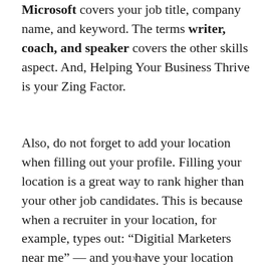Microsoft covers your job title, company name, and keyword. The terms writer, coach, and speaker covers the other skills aspect. And, Helping Your Business Thrive is your Zing Factor.
Also, do not forget to add your location when filling out your profile. Filling your location is a great way to rank higher than your other job candidates. This is because when a recruiter in your location, for example, types out: “Digitial Marketers near me” — and you have your location added to your profile, you are more likely to show up on a higher rank on
x